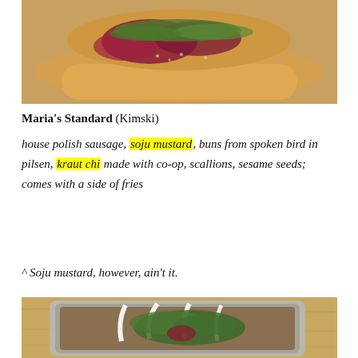[Figure (photo): Close-up overhead photo of a polish sausage hot dog in a bun with red cabbage, arugula, and sesame seeds on a light plate.]
Maria's Standard (Kimski)
house polish sausage, soju mustard, buns from spoken bird in pilsen, kraut chi made with co-op, scallions, sesame seeds; comes with a side of fries
^ Soju mustard, however, ain't it.
[Figure (photo): Overhead photo of a gray rectangular container with a breaded flatbread or crepe dish topped with white cream sauce drizzles, fresh greens/microgreens, and red garnish, on a wooden surface.]